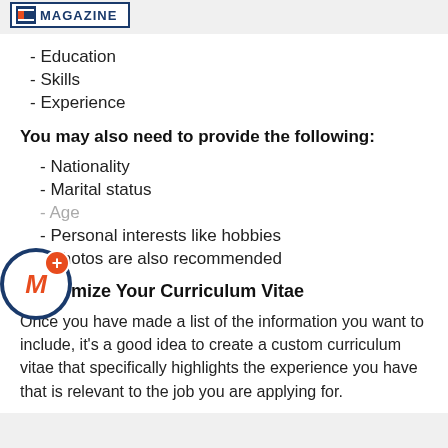[Figure (logo): Magazine logo with icon and text 'MAGAZINE' in dark blue on white background with border]
- Education
- Skills
- Experience
You may also need to provide the following:
- Nationality
- Marital status
- Age
- Personal interests like hobbies
- Photos are also recommended
Customize Your Curriculum Vitae
Once you have made a list of the information you want to include, it's a good idea to create a custom curriculum vitae that specifically highlights the experience you have that is relevant to the job you are applying for.